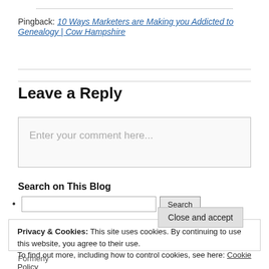Pingback: 10 Ways Marketers are Making you Addicted to Genealogy | Cow Hampshire
Leave a Reply
Enter your comment here...
Search on This Blog
Privacy & Cookies: This site uses cookies. By continuing to use this website, you agree to their use. To find out more, including how to control cookies, see here: Cookie Policy
Formerly